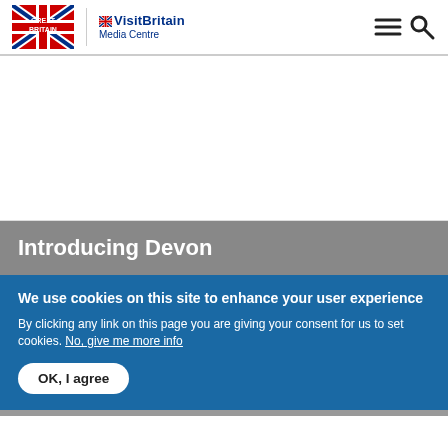VisitBritain Media Centre
[Figure (illustration): White blank image area below header]
Introducing Devon
We use cookies on this site to enhance your user experience
By clicking any link on this page you are giving your consent for us to set cookies. No, give me more info
OK, I agree